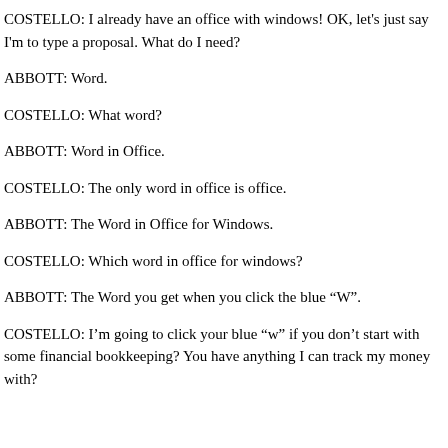COSTELLO: I already have an office with windows! OK, let's just say I'm to type a proposal. What do I need?
ABBOTT: Word.
COSTELLO: What word?
ABBOTT: Word in Office.
COSTELLO: The only word in office is office.
ABBOTT: The Word in Office for Windows.
COSTELLO: Which word in office for windows?
ABBOTT: The Word you get when you click the blue “W”.
COSTELLO: I’m going to click your blue “w” if you don’t start with some financial bookkeeping? You have anything I can track my money with?